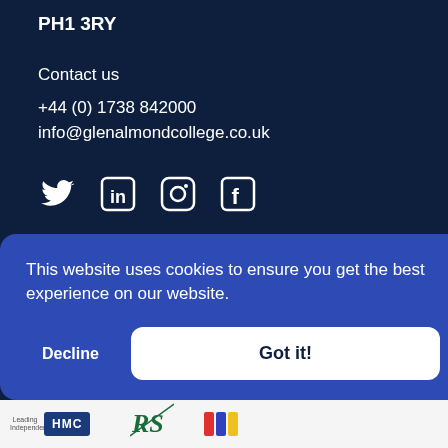PH1 3RY
Contact us
+44 (0) 1738 842000
info@glenalmondcollege.co.uk
[Figure (illustration): Social media icons: Twitter (bird), LinkedIn (in box), Instagram (camera circle), Facebook (f box)]
Site by Innovation Digital Ltd
This website uses cookies to ensure you get the best experience on our website.
[Figure (screenshot): Cookie consent banner with Decline and Got it! buttons]
[Figure (logo): Footer logos: Leading Independent and HMC badge, BSA logo, colored stripes logo]